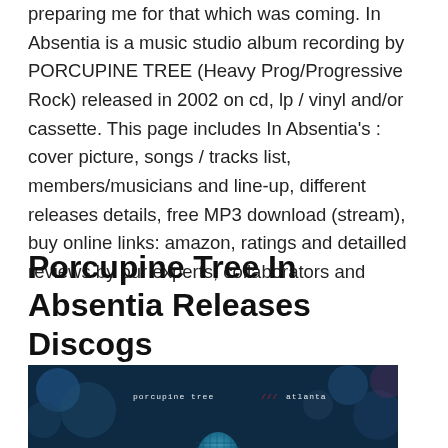preparing me for that which was coming. In Absentia is a music studio album recording by PORCUPINE TREE (Heavy Prog/Progressive Rock) released in 2002 on cd, lp / vinyl and/or cassette. This page includes In Absentia's : cover picture, songs / tracks list, members/musicians and line-up, different releases details, free MP3 download (stream), buy online links: amazon, ratings and detailled reviews by our experts, collaborators and
Porcupine Tree In Absentia Releases Discogs
[Figure (photo): Blue-toned close-up photo of a microphone (shure-style) with blurred bokeh background. White text overlay reads 'porcupine tree /// atlanta' with red slash marks.]